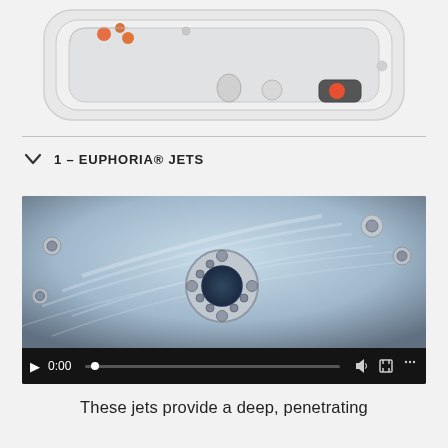[Figure (photo): Top-down view of a hot tub/spa with orange jet markers and control panel visible, white shell interior]
1 – EUPHORIA® JETS
[Figure (screenshot): Video player showing underwater close-up of spa jets with water flowing, controls showing play button, 0:00 timestamp, volume, fullscreen and menu icons]
These jets provide a deep, penetrating